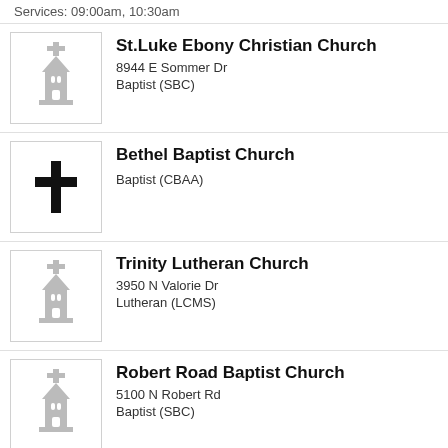Services: 09:00am, 10:30am
St.Luke Ebony Christian Church
8944 E Sommer Dr
Baptist (SBC)
Bethel Baptist Church
Baptist (CBAA)
Trinity Lutheran Church
3950 N Valorie Dr
Lutheran (LCMS)
Robert Road Baptist Church
5100 N Robert Rd
Baptist (SBC)